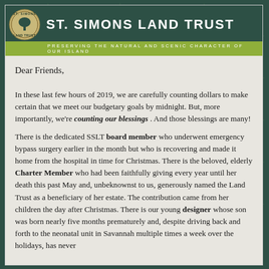ST. SIMONS LAND TRUST — PRESERVING THE NATURAL AND SCENIC CHARACTER OF OUR ISLAND
Dear Friends,
In these last few hours of 2019, we are carefully counting dollars to make certain that we meet our budgetary goals by midnight. But, more importantly, we're counting our blessings . And those blessings are many!
There is the dedicated SSLT board member who underwent emergency bypass surgery earlier in the month but who is recovering and made it home from the hospital in time for Christmas. There is the beloved, elderly Charter Member who had been faithfully giving every year until her death this past May and, unbeknownst to us, generously named the Land Trust as a beneficiary of her estate. The contribution came from her children the day after Christmas. There is our young designer whose son was born nearly five months prematurely and, despite driving back and forth to the neonatal unit in Savannah multiple times a week over the holidays, has never